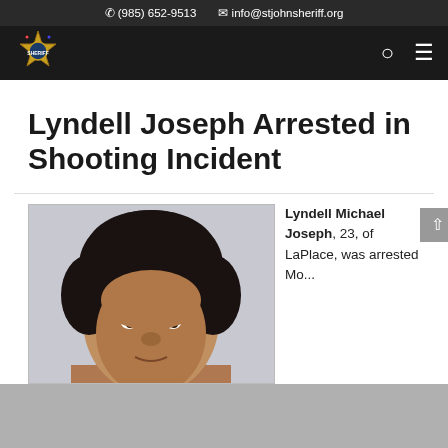(985) 652-9513   info@stjohnsheriff.org
[Figure (logo): St. John Sheriff's Office star badge logo]
Lyndell Joseph Arrested in Shooting Incident
[Figure (photo): Mugshot photo of Lyndell Joseph, a young Black male facing forward]
Lyndell Michael Joseph, 23, of LaPlace, was arrested Mo...